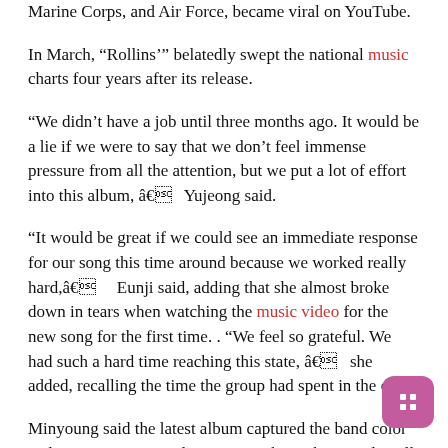Marine Corps, and Air Force, became viral on YouTube.
In March, “Rollins’” belatedly swept the national music charts four years after its release.
“We didn’t have a job until three months ago. It would be a lie if we were to say that we don’t feel immense pressure from all the attention, but we put a lot of effort into this album, â€ Yujeong said.
“It would be great if we could see an immediate response for our song this time around because we worked really hard,â€ Eunji said, adding that she almost broke down in tears when watching the music video for the new song for the first time. . “We feel so grateful. We had such a hard time reaching this state, â€ she added, recalling the time the group had spent in the dark.
Minyoung said the latest album captured the band color audiences most wanted, expressing hope that people will receive positive energy while listening to their songs.
Launched in 2011, Brave Girls has seen all of its original members